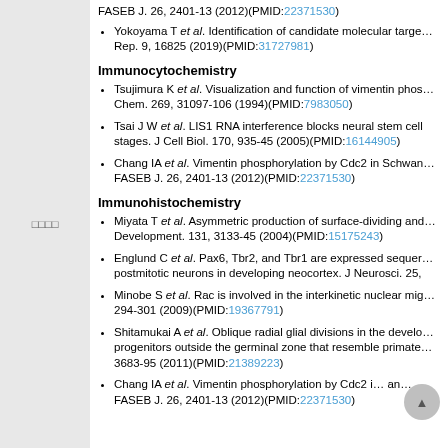FASEB J. 26, 2401-13 (2012)(PMID:22371530)
Yokoyama T et al. Identification of candidate molecular targets... Rep. 9, 16825 (2019)(PMID:31727981)
Immunocytochemistry
Tsujimura K et al. Visualization and function of vimentin phos... Chem. 269, 31097-106 (1994)(PMID:7983050)
Tsai J W et al. LIS1 RNA interference blocks neural stem cell stages. J Cell Biol. 170, 935-45 (2005)(PMID:16144905)
Chang IA et al. Vimentin phosphorylation by Cdc2 in Schwan... FASEB J. 26, 2401-13 (2012)(PMID:22371530)
Immunohistochemistry
Miyata T et al. Asymmetric production of surface-dividing and... Development. 131, 3133-45 (2004)(PMID:15175243)
Englund C et al. Pax6, Tbr2, and Tbr1 are expressed sequentially by radial glia, intermediate progenitor cells, and postmitotic neurons in developing neocortex. J Neurosci. 25,
Minobe S et al. Rac is involved in the interkinetic nuclear migration... 294-301 (2009)(PMID:19367791)
Shitamukai A et al. Oblique radial glial divisions in the developing mouse neocortex induce self-renewing progenitors outside the germinal zone that resemble primate outer subventricular zone progenitors. 3683-95 (2011)(PMID:21389223)
Chang IA et al. Vimentin phosphorylation by Cdc2 in Schwan... FASEB J. 26, 2401-13 (2012)(PMID:22371530)